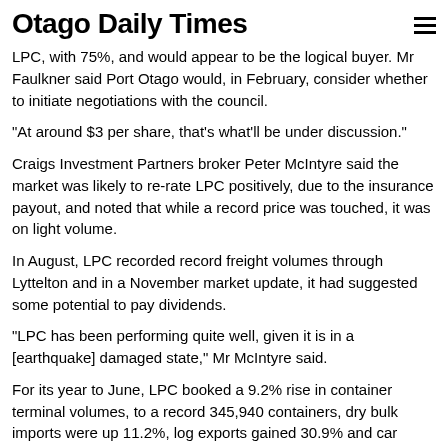Otago Daily Times
LPC, with 75%, and would appear to be the logical buyer. Mr Faulkner said Port Otago would, in February, consider whether to initiate negotiations with the council.
"At around $3 per share, that's what'll be under discussion."
Craigs Investment Partners broker Peter McIntyre said the market was likely to re-rate LPC positively, due to the insurance payout, and noted that while a record price was touched, it was on light volume.
In August, LPC recorded record freight volumes through Lyttelton and in a November market update, it had suggested some potential to pay dividends.
"LPC has been performing quite well, given it is in a [earthquake] damaged state," Mr McIntyre said.
For its year to June, LPC booked a 9.2% rise in container terminal volumes, to a record 345,940 containers, dry bulk imports were up 11.2%, log exports gained 30.9% and car imports rose 24.6%.
- simon.hartley@odt.co.nz